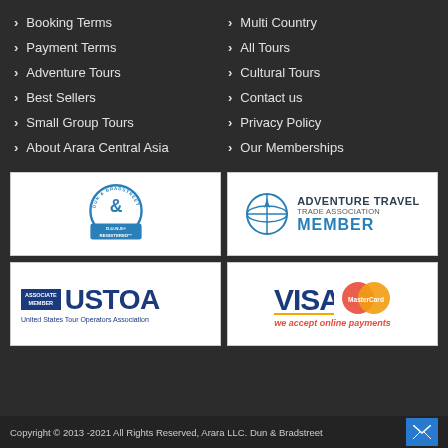Booking Terms
Payment Terms
Adventure Tours
Best Sellers
Small Group Tours
About Arara Central Asia
Multi Country
All Tours
Cultural Tours
Contact us
Privacy Policy
Our Memberships
[Figure (logo): Dun & Bradstreet D-U-N-S Registered logo]
[Figure (logo): Adventure Travel Trade Association Member logo]
[Figure (logo): USTOA United States Tour Operators Association Associate Member logo]
[Figure (logo): Visa and MasterCard - we accept online payments]
Copyright © 2013 -2021 All Rights Reserved, Arara LLC. Dun & Bradstreet